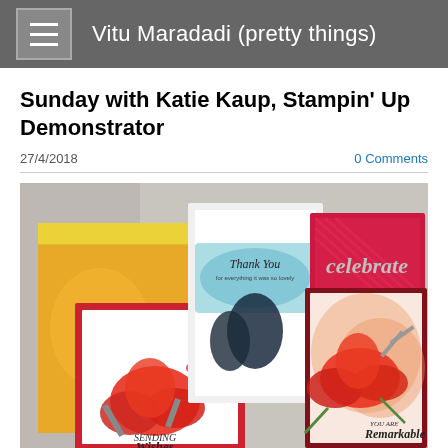Vitu Maradadi (pretty things)
Sunday with Katie Kaup, Stampin' Up Demonstrator
27/4/2018
0 Comments
[Figure (photo): Photo of multiple handmade greeting cards by Stampin' Up demonstrator Katie Kaup. Cards feature floral designs (magnolia flowers), watercolor backgrounds in peach/orange, and sentiments including 'Thank You', 'celebrate', 'Sending Wishes Your Way', and 'You Are Remarkable'.]